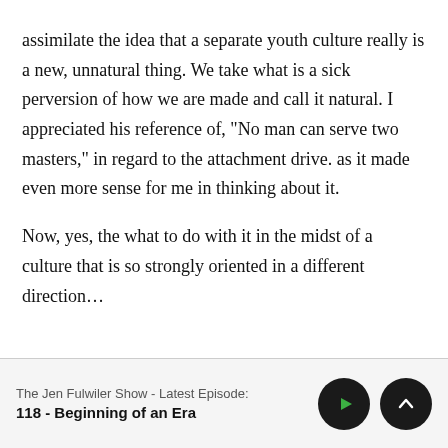assimilate the idea that a separate youth culture really is a new, unnatural thing. We take what is a sick perversion of how we are made and call it natural. I appreciated his reference of, “No man can serve two masters,” in regard to the attachment drive. as it made even more sense for me in thinking about it.

Now, yes, the what to do with it in the midst of a culture that is so strongly oriented in a different direction…
The Jen Fulwiler Show - Latest Episode:
118 - Beginning of an Era